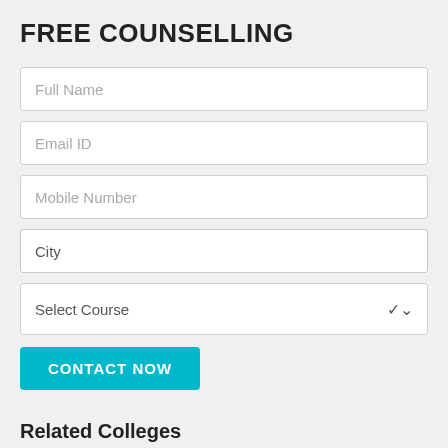FREE COUNSELLING
Full Name
Email ID
Mobile Number
City
Select Course
CONTACT NOW
Related Colleges
Dhole Patil Education Societys, Dhole Patil